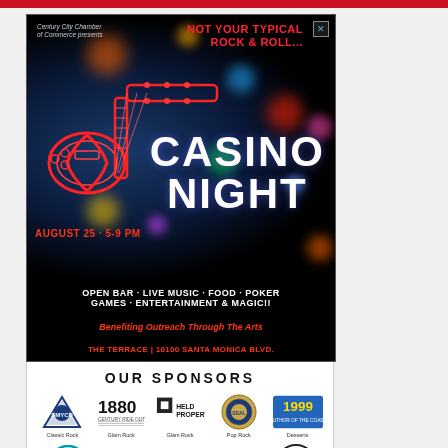[Figure (infographic): Casino Night advertisement by Century City Chamber of Commerce. Features a neon guitar illustration on dark background with bokeh lights. Text: NOT YOUR TYPICAL ROCK & ROLL... CASINO NIGHT. AUGUST 25 · 5-9 PM. OPEN BAR · LIVE MUSIC · FOOD · POKER GAMES · ENTERTAINMENT & MAGIC!! Benefiting Outreach Through The Arts. THE TERRACE | 10100 SANTA MONICA BLVD.]
OUR SPONSORS
[Figure (logo): Sponsor logos row 1: Classic Rock (SMYCD shield logo), 1880 Century Ride Out / Glam Rock, Held Properties / Glam Rock, Pop Rock (seal logo), Desserts (1999 Author of the Coast logo)]
[Figure (logo): Sponsor logos row 2: Dragon Horse, Constellation Place, LexisNexis, LOTTA (circular logo)]